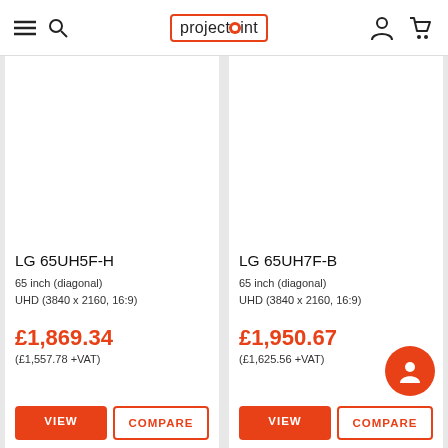projectorpoint
LG 65UH5F-H
65 inch (diagonal)
UHD (3840 x 2160, 16:9)
£1,869.34
(£1,557.78 +VAT)
LG 65UH7F-B
65 inch (diagonal)
UHD (3840 x 2160, 16:9)
£1,950.67
(£1,625.56 +VAT)